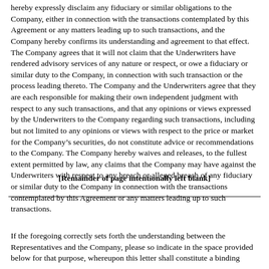hereby expressly disclaim any fiduciary or similar obligations to the Company, either in connection with the transactions contemplated by this Agreement or any matters leading up to such transactions, and the Company hereby confirms its understanding and agreement to that effect. The Company agrees that it will not claim that the Underwriters have rendered advisory services of any nature or respect, or owe a fiduciary or similar duty to the Company, in connection with such transaction or the process leading thereto. The Company and the Underwriters agree that they are each responsible for making their own independent judgment with respect to any such transactions, and that any opinions or views expressed by the Underwriters to the Company regarding such transactions, including but not limited to any opinions or views with respect to the price or market for the Company's securities, do not constitute advice or recommendations to the Company. The Company hereby waives and releases, to the fullest extent permitted by law, any claims that the Company may have against the Underwriters with respect to any breach or alleged breach of any fiduciary or similar duty to the Company in connection with the transactions contemplated by this Agreement or any matters leading up to such transactions.
[Remainder of page intentionally left blank]
If the foregoing correctly sets forth the understanding between the Representatives and the Company, please so indicate in the space provided below for that purpose, whereupon this letter shall constitute a binding